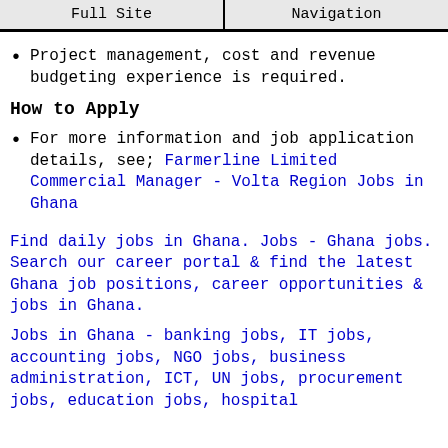Full Site | Navigation
Project management, cost and revenue budgeting experience is required.
How to Apply
For more information and job application details, see; Farmerline Limited Commercial Manager - Volta Region Jobs in Ghana
Find daily jobs in Ghana. Jobs - Ghana jobs. Search our career portal & find the latest Ghana job positions, career opportunities & jobs in Ghana.
Jobs in Ghana - banking jobs, IT jobs, accounting jobs, NGO jobs, business administration, ICT, UN jobs, procurement jobs, education jobs, hospital